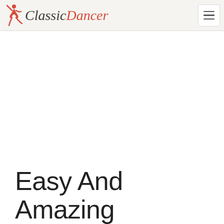ClassicDancer
Easy And Amazing